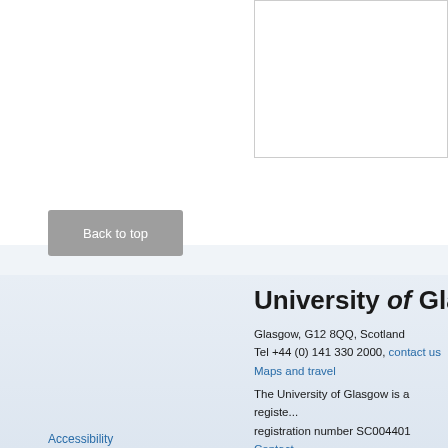[Figure (screenshot): White content area with a bordered box on the right side, partially visible page content]
Back to top
University of Glasgow
Glasgow, G12 8QQ, Scotland
Tel +44 (0) 141 330 2000, contact us
Maps and travel
The University of Glasgow is a registered Scottish charity: registration number SC004401
Contact
Accessibility